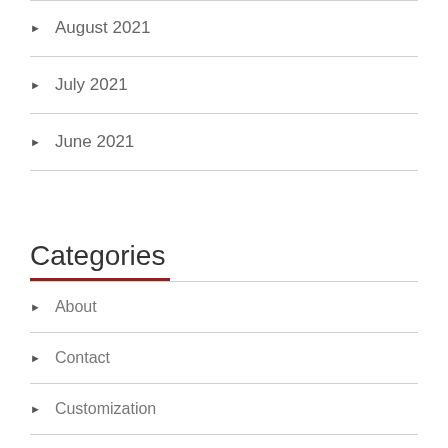August 2021
July 2021
June 2021
Categories
About
Contact
Customization
Processing